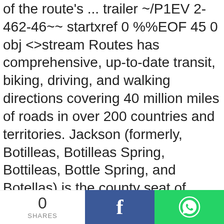of the route's ... trailer ~/P1EV 2-462-46~~ startxref 0 %%EOF 45 0 obj <>stream Routes has comprehensive, up-to-date transit, biking, driving, and walking directions covering 40 million miles of roads in over 200 countries and territories. Jackson (formerly, Botilleas, Botilleas Spring, Bottileas, Bottle Spring, and Botellas) is the county seat of Amador County, California. Get route-specific detour information. Find local businesses, view maps and get driving directions in Google Maps. 3. 0000002535 00000 n 0000001136 00000 n It is a part of SEPTA's continuing e˜orts to improve transit access to employment destinations. Bus stop X. You'll be able to discover many of the park's best-known
0 SHARES